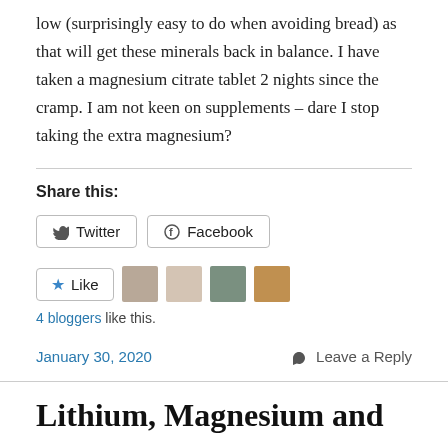low (surprisingly easy to do when avoiding bread) as that will get these minerals back in balance. I have taken a magnesium citrate tablet 2 nights since the cramp. I am not keen on supplements – dare I stop taking the extra magnesium?
Share this:
Twitter  Facebook
Like  [avatars]  4 bloggers like this.
January 30, 2020    Leave a Reply
Lithium, Magnesium and